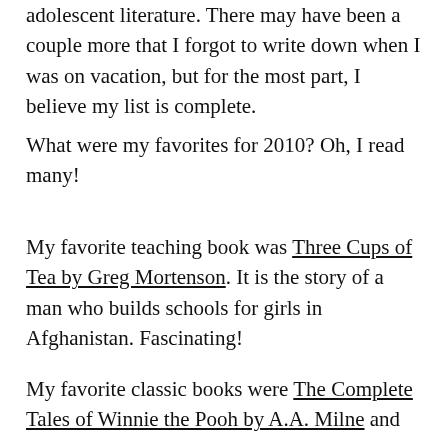adolescent literature. There may have been a couple more that I forgot to write down when I was on vacation, but for the most part, I believe my list is complete.
What were my favorites for 2010? Oh, I read many!
My favorite teaching book was Three Cups of Tea by Greg Mortenson. It is the story of a man who builds schools for girls in Afghanistan. Fascinating!
My favorite classic books were The Complete Tales of Winnie the Pooh by A.A. Milne and